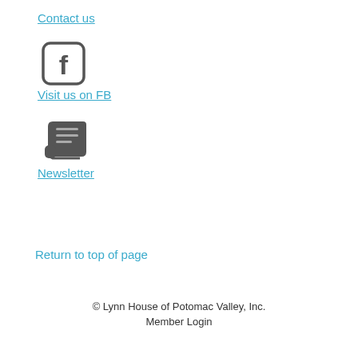Contact us
[Figure (logo): Facebook icon – rounded square with 'f' letter]
Visit us on FB
[Figure (illustration): Newsletter/scroll icon]
Newsletter
Return to top of page
© Lynn House of Potomac Valley, Inc.
Member Login